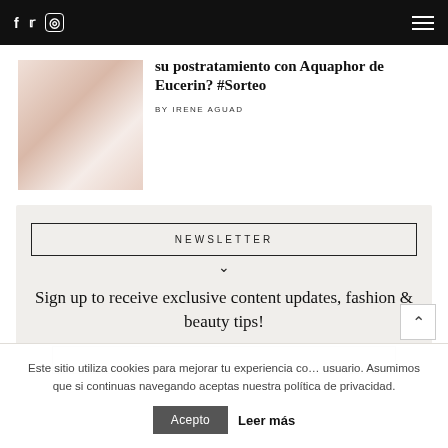f  ✕  ☉ [social icons] [hamburger menu]
su postratamiento con Aquaphor de Eucerin? #Sorteo
BY IRENE AGUAD
NEWSLETTER
Sign up to receive exclusive content updates, fashion & beauty tips!
Este sitio utiliza cookies para mejorar tu experiencia como usuario. Asumimos que si continuas navegando aceptas nuestra política de privacidad.
Acepto
Leer más